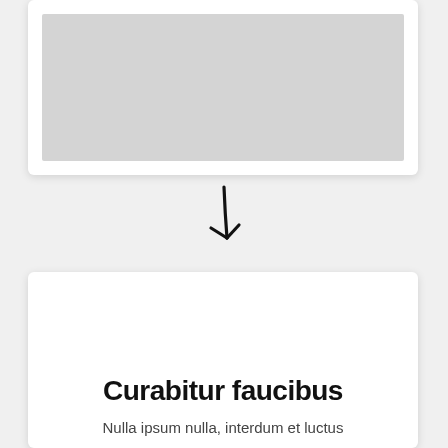[Figure (other): A white card with a grey rectangle placeholder image inside, with drop shadow.]
[Figure (other): A hand-drawn style downward-pointing arrow in black.]
Curabitur faucibus
Nulla ipsum nulla, interdum et luctus